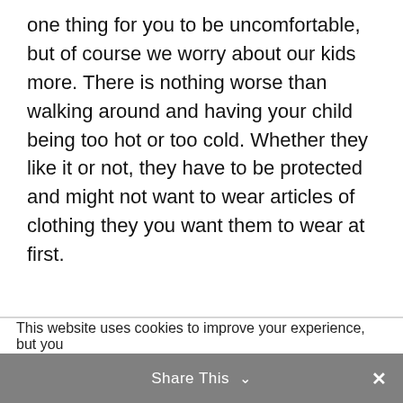one thing for you to be uncomfortable, but of course we worry about our kids more. There is nothing worse than walking around and having your child being too hot or too cold. Whether they like it or not, they have to be protected and might not want to wear articles of clothing they you want them to wear at first.
This website uses cookies to improve your experience, but you
Share This ∨  ✕